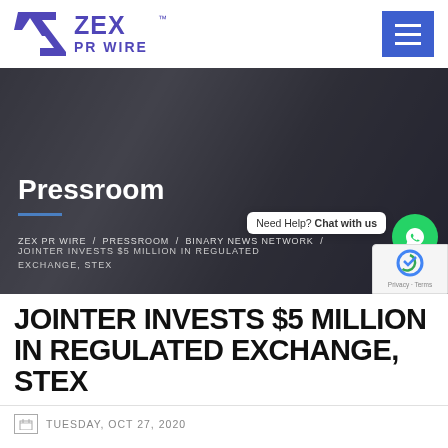ZEX PR WIRE
[Figure (screenshot): Hero banner showing people working at a table with papers and charts, dark overlay, with 'Pressroom' heading and breadcrumb navigation: ZEX PR WIRE / PRESSROOM / BINARY NEWS NETWORK / JOINTER INVESTS $5 MILLION IN REGULATED EXCHANGE, STEX]
JOINTER INVESTS $5 MILLION IN REGULATED EXCHANGE, STEX
Need Help? Chat with us
TUESDAY, OCT 27, 2020